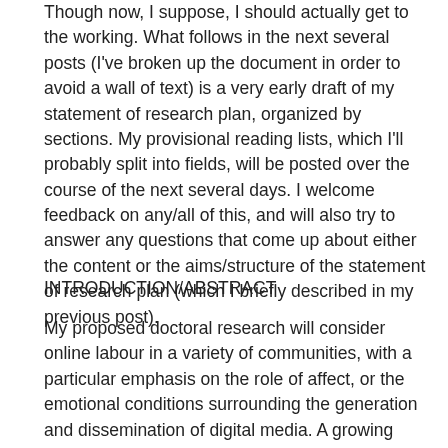Though now, I suppose, I should actually get to the working. What follows in the next several posts (I've broken up the document in order to avoid a wall of text) is a very early draft of my statement of research plan, organized by sections. My provisional reading lists, which I'll probably split into fields, will be posted over the course of the next several days. I welcome feedback on any/all of this, and will also try to answer any questions that come up about either the content or the aims/structure of the statement of research plan (which I briefly described in my previous post).
INTRODUCTION/ABSTRACT
My proposed doctoral research will consider online labour in a variety of communities, with a particular emphasis on the role of affect, or the emotional conditions surrounding the generation and dissemination of digital media. A growing number of people are producing online content, and affect is, to a degree, intimate effects of notional digital content and...